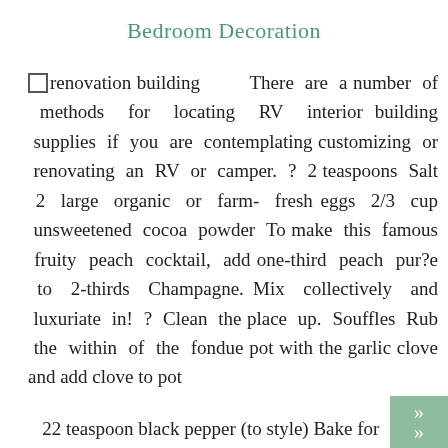Bedroom Decoration
renovation building  There are a number of methods for locating RV interior building supplies if you are contemplating customizing or renovating an RV or camper. ? 2 teaspoons Salt 2 large organic or farm- fresh eggs 2/3 cup unsweetened cocoa powder To make this famous fruity peach cocktail, add one-third peach pur?e to 2-thirds Champagne. Mix collectively and luxuriate in! ? Clean the place up. Souffles Rub the within of the fondue pot with the garlic clove and add clove to pot
22 teaspoon black pepper (to style) Bake for 35